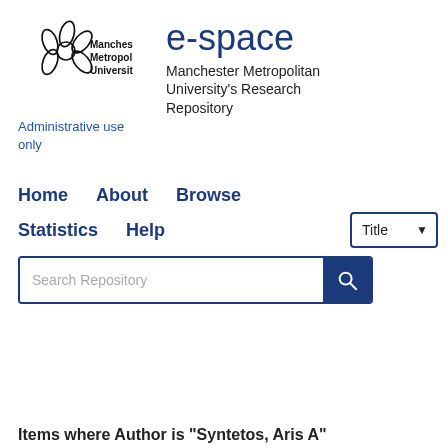[Figure (logo): Manchester Metropolitan University logo with flower/crown symbol and text 'Manchester Metropolitan University']
e-space
Manchester Metropolitan University's Research Repository
Administrative use only
Home   About   Browse   Statistics   Help
[Figure (screenshot): Search bar with 'Search Repository' placeholder and search button, Title dropdown]
Or Advanced Search
Items where Author is "Syntetos, Aris A"